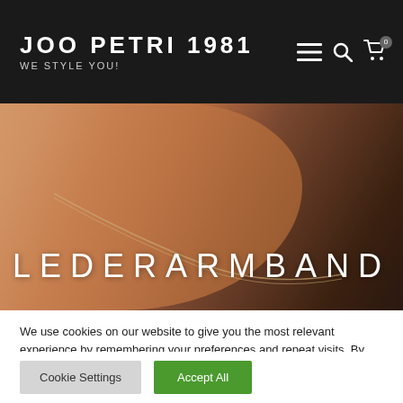JOO PETRI 1981 WE STYLE YOU!
[Figure (photo): Close-up photo of a woman's neck and shoulder with a delicate gold chain necklace, warm skin tones, dark hair visible on the right side. Overlay text reads LEDERARMBAND.]
LEDERARMBAND
We use cookies on our website to give you the most relevant experience by remembering your preferences and repeat visits. By clicking “Accept All”, you consent to the use of ALL the cookies. However, you may visit "Cookie Settings" to provide a controlled consent.
Cookie Settings
Accept All